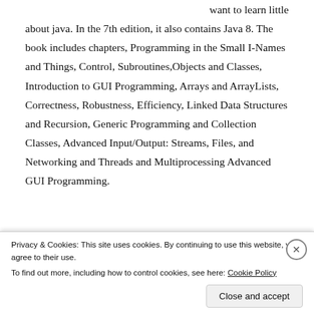want to learn little about java. In the 7th edition, it also contains Java 8. The book includes chapters, Programming in the Small I-Names and Things, Control, Subroutines,Objects and Classes, Introduction to GUI Programming, Arrays and ArrayLists, Correctness, Robustness, Efficiency, Linked Data Structures and Recursion, Generic Programming and Collection Classes, Advanced Input/Output: Streams, Files, and Networking and Threads and Multiprocessing Advanced GUI Programming.
iii. Java: The Legend
Privacy & Cookies: This site uses cookies. By continuing to use this website, you agree to their use. To find out more, including how to control cookies, see here: Cookie Policy